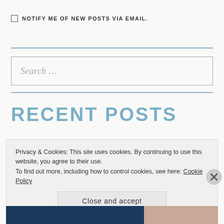NOTIFY ME OF NEW POSTS VIA EMAIL.
Search ...
RECENT POSTS
Privacy & Cookies: This site uses cookies. By continuing to use this website, you agree to their use.
To find out more, including how to control cookies, see here: Cookie Policy
Close and accept